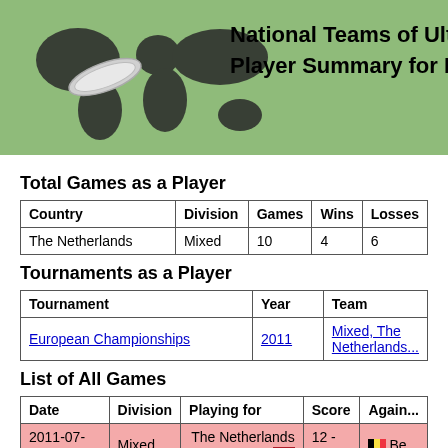National Teams of Ultima... Player Summary for Ded...
Total Games as a Player
| Country | Division | Games | Wins | Losses |
| --- | --- | --- | --- | --- |
| The Netherlands | Mixed | 10 | 4 | 6 |
Tournaments as a Player
| Tournament | Year | Team |
| --- | --- | --- |
| European Championships | 2011 | Mixed, The Netherlands |
List of All Games
| Date | Division | Playing for | Score | Again... |
| --- | --- | --- | --- | --- |
| 2011-07-31 | Mixed | The Netherlands | 12 - 17 | Be... |
| 2011-07-31 | Mixed | The Netherlands | 17 - 8 | Swi... |
| 2011-08-01 | Mixed | The Netherlands | 12 - 15 | Ire... |
| 2011-08-01 | Mixed | The Netherlands | 17 - 13 | Slo... |